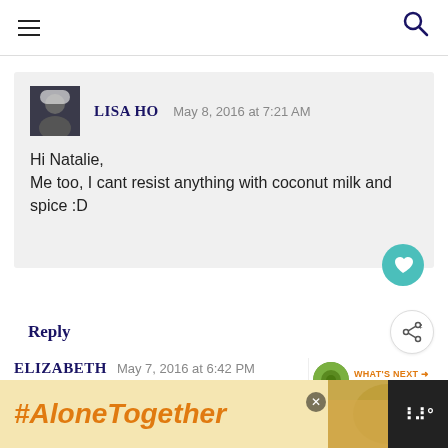Navigation bar with hamburger menu and search icon
LISA HO  May 8, 2016 at 7:21 AM
Hi Natalie,
Me too, I cant resist anything with coconut milk and spice :D
Reply
ELIZABETH  May 7, 2016 at 6:42 PM
Mmmm such a delectable sounding soup! I could quite happily eat that any day of the
[Figure (screenshot): What's Next banner showing Broccoli Soup with circular food image]
[Figure (infographic): Bottom ad banner: #AloneTogether in orange italic text on yellow background with photo and dark right section]